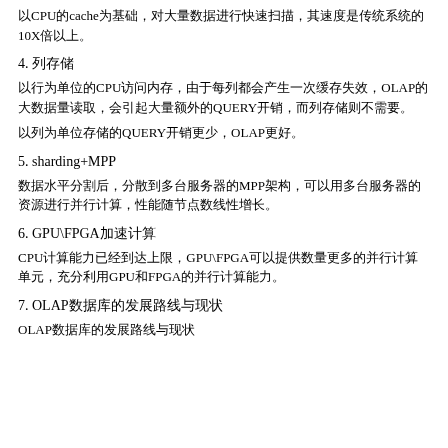以CPU的cache为基础，对大量数据进行快速扫描，其速度是传统系统的10X倍以上。
4. 列存储
以行为单位的CPU访问内存，由于每列都会产生一次缓存失效，OLAP的大数据量读取，会引起大量额外的QUERY开销，而列存储则不需要。
以列为单位存储的QUERY开销更少，OLAP更好。
5. sharding+MPP
数据水平分割后，分散到多台服务器的MPP架构，可以用多台服务器的资源进行并行计算，性能随节点数线性增长。
6. GPU\FPGA加速计算
CPU计算能力已经到达上限，GPU\FPGA可以提供数量更多的并行计算单元，充分利用GPU和FPGA的并行计算能力。
7. OLAP数据库的发展路线与现状
OLAP数据库的发展路线与现状